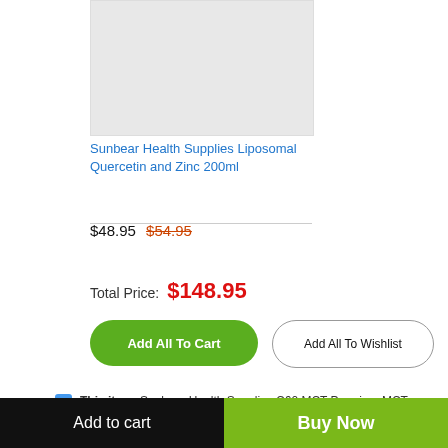[Figure (photo): Product image placeholder (light gray rectangle)]
Sunbear Health Supplies Liposomal Quercetin and Zinc 200ml
$48.95  $54.95
Total Price: $148.95
Add All To Cart
Add All To Wishlist
This item: Sunbear Health Supplies C60 MCT Premium MCT Oil with 99.99% Pure Carbon 60 100ml
($48.00 )
Add to cart
Buy Now